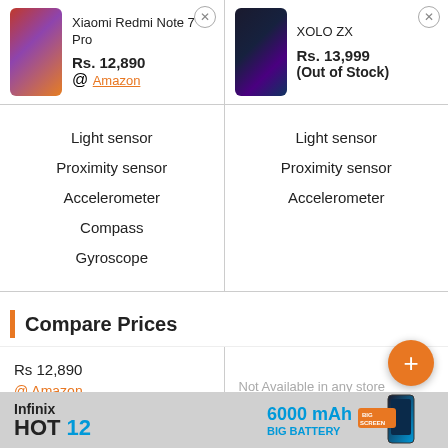[Figure (photo): Xiaomi Redmi Note 7 Pro smartphone image]
Xiaomi Redmi Note 7 Pro
Rs. 12,890
@ Amazon
[Figure (photo): XOLO ZX smartphone image]
XOLO ZX
Rs. 13,999
(Out of Stock)
| Xiaomi Redmi Note 7 Pro Sensors | XOLO ZX Sensors |
| --- | --- |
| Light sensor | Light sensor |
| Proximity sensor | Proximity sensor |
| Accelerometer | Accelerometer |
| Compass |  |
| Gyroscope |  |
Compare Prices
| Xiaomi Redmi Note 7 Pro Price | XOLO ZX Price |
| --- | --- |
| Rs 12,890
@ Amazon | Not Available in any store |
[Figure (photo): Infinix HOT 12 advertisement banner - 6000 mAh Big Battery, Big Screen]